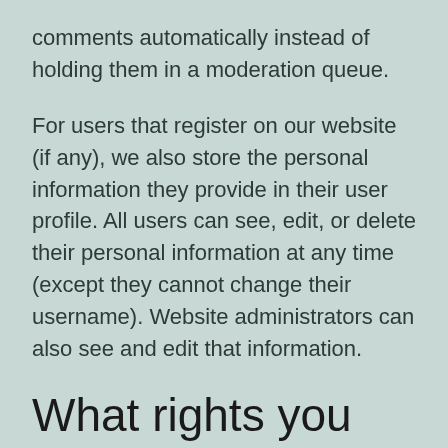comments automatically instead of holding them in a moderation queue.
For users that register on our website (if any), we also store the personal information they provide in their user profile. All users can see, edit, or delete their personal information at any time (except they cannot change their username). Website administrators can also see and edit that information.
What rights you have over your data